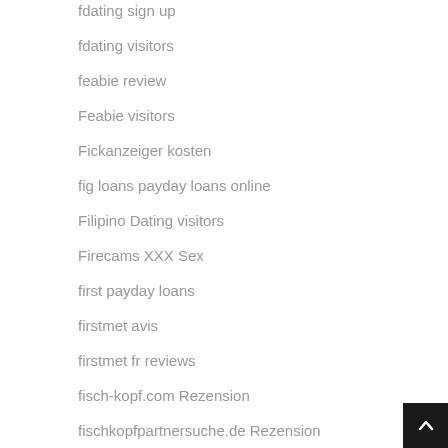fdating sign up
fdating visitors
feabie review
Feabie visitors
Fickanzeiger kosten
fig loans payday loans online
Filipino Dating visitors
Firecams XXX Sex
first payday loans
firstmet avis
firstmet fr reviews
fisch-kopf.com Rezension
fischkopfpartnersuche.de Rezension